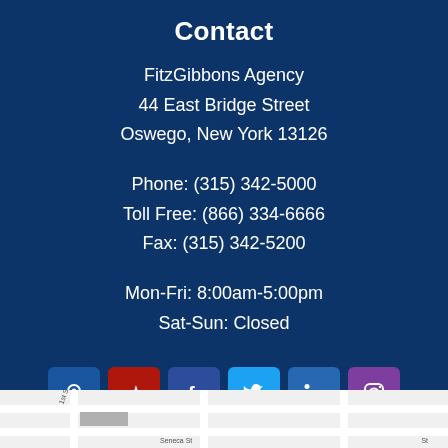Contact
FitzGibbons Agency
44 East Bridge Street
Oswego, New York 13126
Phone: (315) 342-5000
Toll Free: (866) 334-6666
Fax: (315) 342-5200
Mon-Fri: 8:00am-5:00pm
Sat-Sun: Closed
[Figure (infographic): Row of 6 social media icon buttons: Google Maps (blue), Yelp (red), Facebook (dark blue), Twitter (light blue), LinkedIn (blue), Instagram (purple)]
[Figure (map): Partial street map snippet showing roads and the label '1st St' and 'Seneca St']